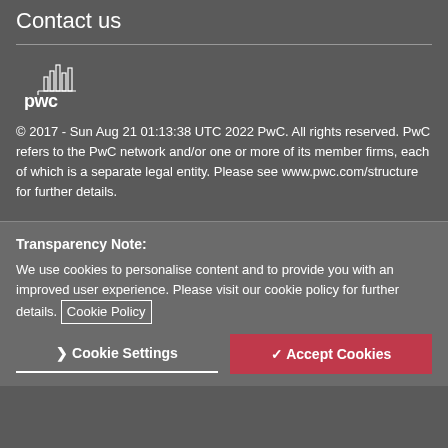Contact us
[Figure (logo): PwC logo — building icon above 'pwc' wordmark in white]
© 2017 - Sun Aug 21 01:13:38 UTC 2022 PwC. All rights reserved. PwC refers to the PwC network and/or one or more of its member firms, each of which is a separate legal entity. Please see www.pwc.com/structure for further details.
Transparency Note:
We use cookies to personalise content and to provide you with an improved user experience. Please visit our cookie policy for further details. Cookie Policy
❯ Cookie Settings   ✓ Accept Cookies